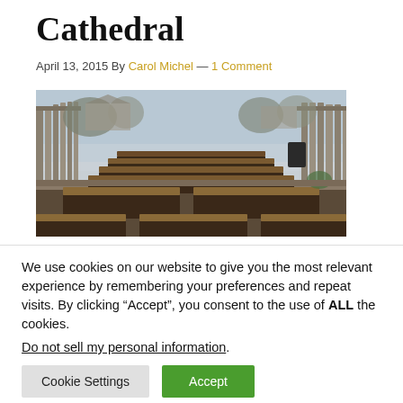Cathedral
April 13, 2015 By Carol Michel — 1 Comment
[Figure (photo): A vegetable garden with multiple raised beds made of wooden boards, arranged in parallel rows receding into the distance, enclosed by a wooden fence. Bare trees visible in the background on an overcast day.]
We use cookies on our website to give you the most relevant experience by remembering your preferences and repeat visits. By clicking “Accept”, you consent to the use of ALL the cookies.
Do not sell my personal information.
Cookie Settings   Accept